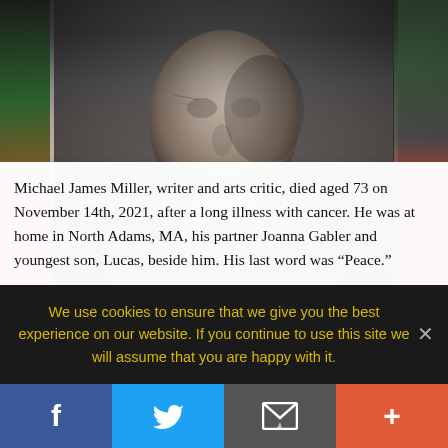[Figure (photo): Black and white portrait photograph of an elderly person, cropped to show face and upper body, with colorful side panels (green/orange on left, dark/red on right)]
Michael James Miller, writer and arts critic, died aged 73 on November 14th, 2021, after a long illness with cancer. He was at home in North Adams, MA, his partner Joanna Gabler and youngest son, Lucas, beside him. His last word was “Peace.”
Michael was born on January 10th, 1948, in Miami, FL, the son of Max “Ike” Miller, a restauranteur and later a
We use cookies to ensure that we give you the best experience on our website. If you continue to use this site we will assume that you are happy with it.
[Figure (infographic): Social sharing bar with four buttons: Facebook (blue, f icon), Twitter (light blue, bird icon), Email (gray, envelope icon), Plus/More (orange-red, + icon)]